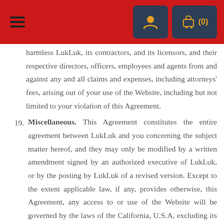LukLuk website header with navigation and cart
harmless LukLuk, its contractors, and its licensors, and their respective directors, officers, employees and agents from and against any and all claims and expenses, including attorneys' fees, arising out of your use of the Website, including but not limited to your violation of this Agreement.
19. Miscellaneous. This Agreement constitutes the entire agreement between LukLuk and you concerning the subject matter hereof, and they may only be modified by a written amendment signed by an authorized executive of LukLuk, or by the posting by LukLuk of a revised version. Except to the extent applicable law, if any, provides otherwise, this Agreement, any access to or use of the Website will be governed by the laws of the California, U.S.A, excluding its conflict of law provisions, and the proper venue for any disputes arising out of or relating to